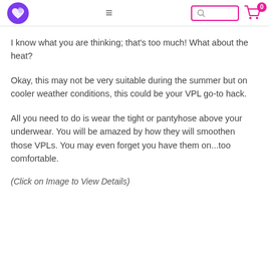[navigation bar with logo, hamburger menu, search box, cart]
I know what you are thinking; that's too much! What about the heat?
Okay, this may not be very suitable during the summer but on cooler weather conditions, this could be your VPL go-to hack.
All you need to do is wear the tight or pantyhose above your underwear. You will be amazed by how they will smoothen those VPLs. You may even forget you have them on...too comfortable.
(Click on Image to View Details)